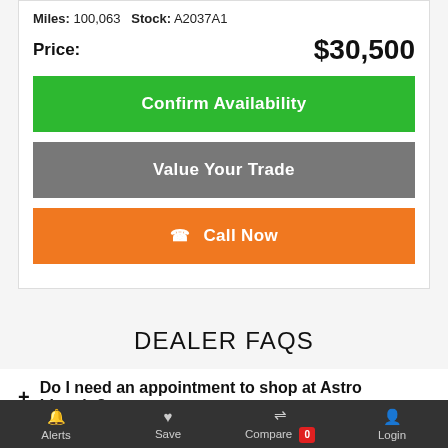Miles: 100,063   Stock: A2037A1
Price: $30,500
Confirm Availability
Value Your Trade
Call Now
DEALER FAQS
+ Do I need an appointment to shop at Astro Lincoln?
Stopping by whenever you have some free time to shop is highly
Alerts   Save   Compare 0   Login